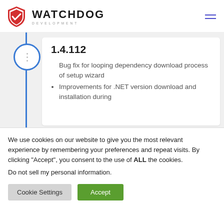WATCHDOG DEVELOPMENT
1.4.112
Bug fix for looping dependency download process of setup wizard
Improvements for .NET version download and installation during
We use cookies on our website to give you the most relevant experience by remembering your preferences and repeat visits. By clicking “Accept”, you consent to the use of ALL the cookies.
Do not sell my personal information.